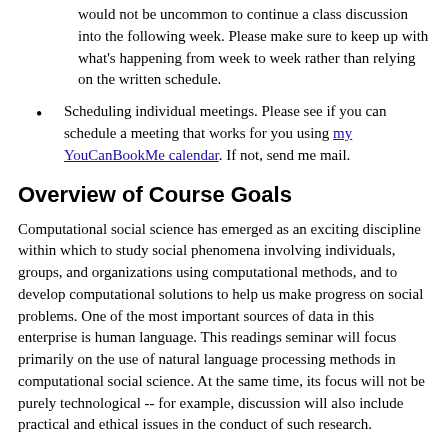would not be uncommon to continue a class discussion into the following week. Please make sure to keep up with what's happening from week to week rather than relying on the written schedule.
Scheduling individual meetings. Please see if you can schedule a meeting that works for you using my YouCanBookMe calendar. If not, send me mail.
Overview of Course Goals
Computational social science has emerged as an exciting discipline within which to study social phenomena involving individuals, groups, and organizations using computational methods, and to develop computational solutions to help us make progress on social problems. One of the most important sources of data in this enterprise is human language. This readings seminar will focus primarily on the use of natural language processing methods in computational social science. At the same time, its focus will not be purely technological -- for example, discussion will also include practical and ethical issues in the conduct of such research.
Grading